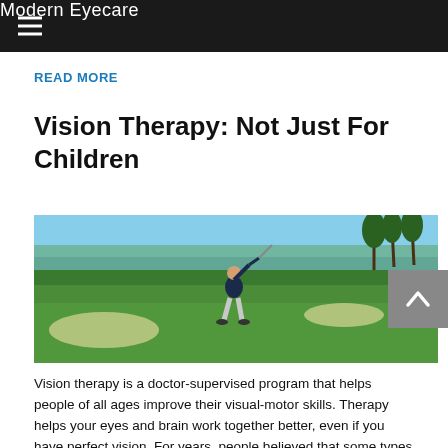Modern Eyecare
READ MORE
Vision Therapy: Not Just For Children
[Figure (photo): Golfer on a lush green golf course with palm trees and blue sky in the background, mid-swing]
Vision therapy is a doctor-supervised program that helps people of all ages improve their visual-motor skills. Therapy helps your eyes and brain work together better, even if you have perfect vision. For years, people believed that some types of eye conditions, such as lazy eye or crossed eyes, could